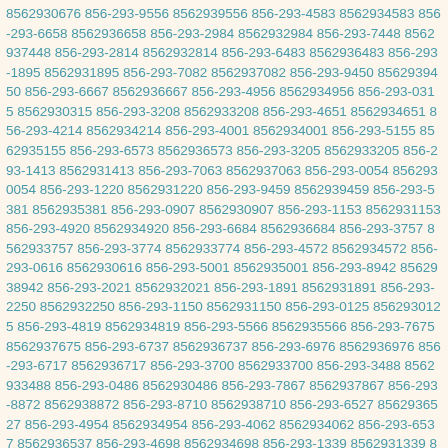8562930676 856-293-9556 8562939556 856-293-4583 8562934583 856-293-6658 8562936658 856-293-2984 8562932984 856-293-7448 8562937448 856-293-2814 8562932814 856-293-6483 8562936483 856-293-1895 8562931895 856-293-7082 8562937082 856-293-9450 8562939450 856-293-6667 8562936667 856-293-4956 8562934956 856-293-0315 8562930315 856-293-3208 8562933208 856-293-4651 8562934651 856-293-4214 8562934214 856-293-4001 8562934001 856-293-5155 8562935155 856-293-6573 8562936573 856-293-3205 8562933205 856-293-1413 8562931413 856-293-7063 8562937063 856-293-0054 8562930054 856-293-1220 8562931220 856-293-9459 8562939459 856-293-5381 8562935381 856-293-0907 8562930907 856-293-1153 8562931153 856-293-4920 8562934920 856-293-6684 8562936684 856-293-3757 8562933757 856-293-3774 8562933774 856-293-4572 8562934572 856-293-0616 8562930616 856-293-5001 8562935001 856-293-8942 8562938942 856-293-2021 8562932021 856-293-1891 8562931891 856-293-2250 8562932250 856-293-1150 8562931150 856-293-0125 8562930125 856-293-4819 8562934819 856-293-5566 8562935566 856-293-7675 8562937675 856-293-6737 8562936737 856-293-6976 8562936976 856-293-6717 8562936717 856-293-3700 8562933700 856-293-3488 8562933488 856-293-0486 8562930486 856-293-7867 8562937867 856-293-8872 8562938872 856-293-8710 8562938710 856-293-6527 8562936527 856-293-4954 8562934954 856-293-4062 8562934062 856-293-6537 8562936537 856-293-4698 8562934698 856-293-1339 8562931339 856-293-1720 8562931720 856-293-6415 8562936415 856-293-6094 8562936094 856-293-3989 8562933989 856-293-0622 8562930622 856-293-9924